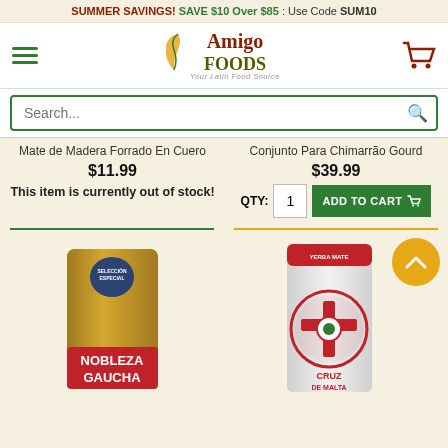SUMMER SAVINGS! SAVE $10 Over $85 : Use Code SUM10
[Figure (logo): Amigo Foods - Your Latin Food Source logo with hamburger menu and shopping cart]
Search...
Mate de Madera Forrado En Cuero
$11.99
This item is currently out of stock!
Conjunto Para Chimarrão Gourd
$39.99
QTY: 1  ADD TO CART
[Figure (photo): Nobleza Gaucha yerba mate package - gold/red bag]
[Figure (photo): Cruz de Malta Yerba Mate white package with red cross logo]